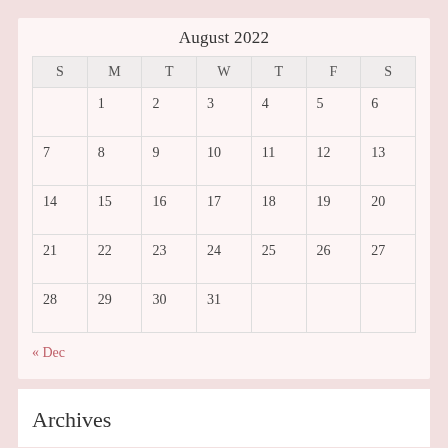August 2022
| S | M | T | W | T | F | S |
| --- | --- | --- | --- | --- | --- | --- |
|  | 1 | 2 | 3 | 4 | 5 | 6 |
| 7 | 8 | 9 | 10 | 11 | 12 | 13 |
| 14 | 15 | 16 | 17 | 18 | 19 | 20 |
| 21 | 22 | 23 | 24 | 25 | 26 | 27 |
| 28 | 29 | 30 | 31 |  |  |  |
« Dec
Archives